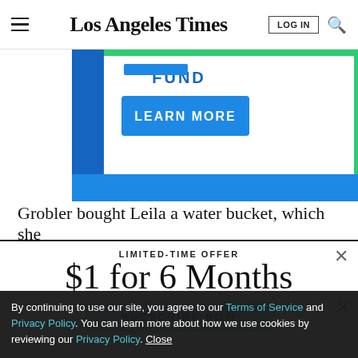Los Angeles Times — LOG IN [search]
[Figure (screenshot): Partial advertisement banner with green border, blue background elements, and a blue 'LEARN MORE' button with partial text 'FUND' above it.]
Grobler bought Leila a water bucket, which she
[Figure (screenshot): Subscription modal overlay. LIMITED-TIME OFFER. $1 for 6 Months. SUBSCRIBE NOW button in light blue. X close button top right.]
By continuing to use our site, you agree to our Terms of Service and Privacy Policy. You can learn more about how we use cookies by reviewing our Privacy Policy. Close